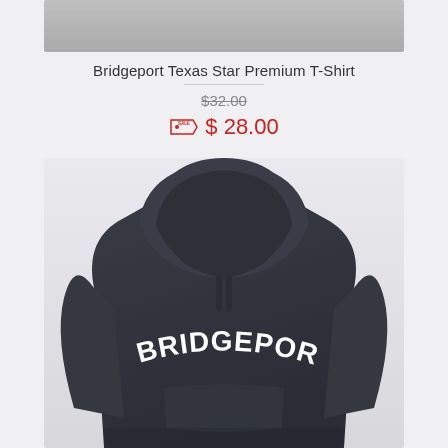[Figure (photo): Top portion of a gray t-shirt product image, cropped at the bottom]
Bridgeport Texas Star Premium T-Shirt
$32.00 (strikethrough original price)
$ 28.00 (sale price with sale tag icon)
[Figure (photo): Back view of a dark navy/charcoal hoodie with BRIDGEPORT text in white collegiate-style arched lettering across the back]